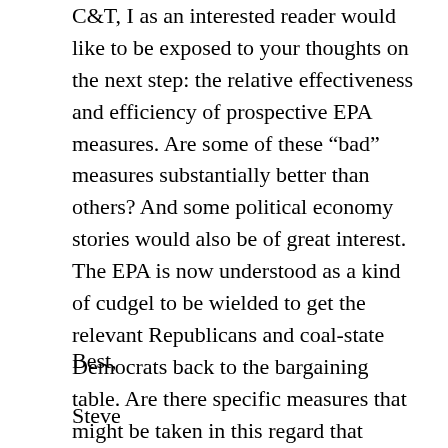C&T, I as an interested reader would like to be exposed to your thoughts on the next step: the relative effectiveness and efficiency of prospective EPA measures. Are some of these “bad” measures substantially better than others? And some political economy stories would also be of great interest. The EPA is now understood as a kind of cudgel to be wielded to get the relevant Republicans and coal-state Democrats back to the bargaining table. Are there specific measures that might be taken in this regard that might be particularly effective?
Best,
Steve